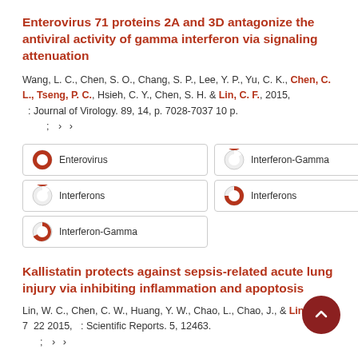Enterovirus 71 proteins 2A and 3D antagonize the antiviral activity of gamma interferon via signaling attenuation
Wang, L. C., Chen, S. O., Chang, S. P., Lee, Y. P., Yu, C. K., Chen, C. L., Tseng, P. C., Hsieh, C. Y., Chen, S. H. & Lin, C. F., 2015, : Journal of Virology. 89, 14, p. 7028-7037 10 p.
[Figure (infographic): Five keyword badges with circular pie-chart icons: Enterovirus (full red), Interferon-Gamma (nearly full red), Interferons (nearly full red), Interferons (75% red), Interferon-Gamma (75% red)]
Kallistatin protects against sepsis-related acute lung injury via inhibiting inflammation and apoptosis
Lin, W. C., Chen, C. W., Huang, Y. W., Chao, L., Chao, J., & Lin, C. F., 7  22 2015,  : Scientific Reports. 5, 12463.